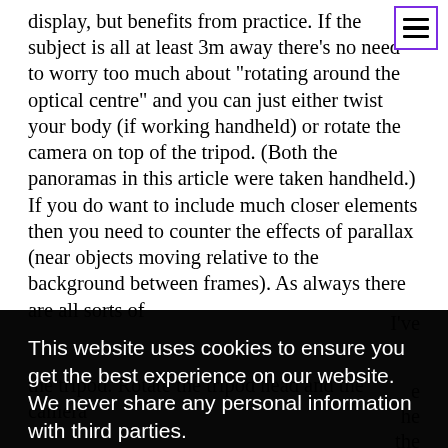display, but benefits from practice. If the subject is all at least 3m away there's no need to worry too much about "rotating around the optical centre" and you can just either twist your body (if working handheld) or rotate the camera on top of the tripod. (Both the panoramas in this article were taken handheld.) If you do want to include much closer elements then you need to counter the effects of parallax (near objects moving relative to the background between frames). As always there are all sorts of … I've … e … he … the … f the tripod. Rotate the tripod head and the camera …
[Figure (other): Hamburger menu icon — three horizontal lines in a purple-bordered square, top-right corner]
This website uses cookies to ensure you get the best experience on our website. We never share any personal information with third parties. Learn more [Got it! button]